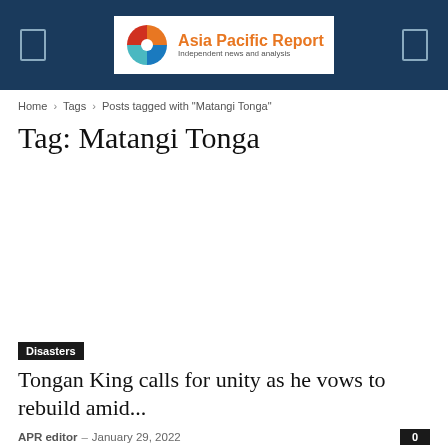Asia Pacific Report — Independent news and analysis
Home › Tags › Posts tagged with "Matangi Tonga"
Tag: Matangi Tonga
Disasters
Tongan King calls for unity as he vows to rebuild amid...
APR editor — January 29, 2022